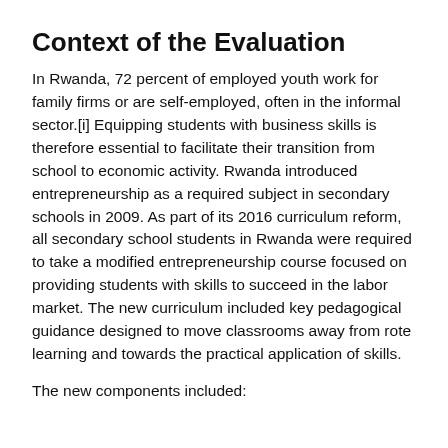Context of the Evaluation
In Rwanda, 72 percent of employed youth work for family firms or are self-employed, often in the informal sector.[i] Equipping students with business skills is therefore essential to facilitate their transition from school to economic activity. Rwanda introduced entrepreneurship as a required subject in secondary schools in 2009. As part of its 2016 curriculum reform, all secondary school students in Rwanda were required to take a modified entrepreneurship course focused on providing students with skills to succeed in the labor market. The new curriculum included key pedagogical guidance designed to move classrooms away from rote learning and towards the practical application of skills.
The new components included: